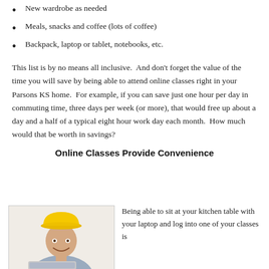New wardrobe as needed
Meals, snacks and coffee (lots of coffee)
Backpack, laptop or tablet, notebooks, etc.
This list is by no means all inclusive.  And don't forget the value of the time you will save by being able to attend online classes right in your Parsons KS home.  For example, if you can save just one hour per day in commuting time, three days per week (or more), that would free up about a day and a half of a typical eight hour work day each month.  How much would that be worth in savings?
Online Classes Provide Convenience
[Figure (photo): A man wearing a yellow hard hat and gray work shirt, smiling, holding a laptop or tablet, photographed from roughly chest-up against a white background.]
Being able to sit at your kitchen table with your laptop and log into one of your classes is